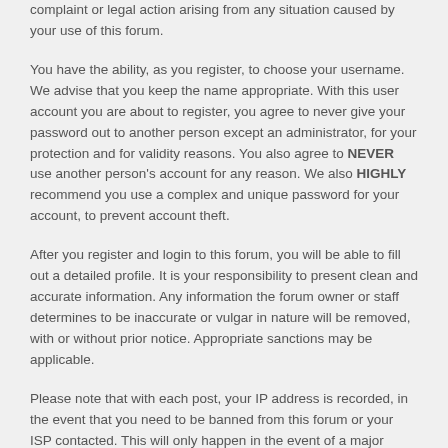complaint or legal action arising from any situation caused by your use of this forum.
You have the ability, as you register, to choose your username. We advise that you keep the name appropriate. With this user account you are about to register, you agree to never give your password out to another person except an administrator, for your protection and for validity reasons. You also agree to NEVER use another person's account for any reason. We also HIGHLY recommend you use a complex and unique password for your account, to prevent account theft.
After you register and login to this forum, you will be able to fill out a detailed profile. It is your responsibility to present clean and accurate information. Any information the forum owner or staff determines to be inaccurate or vulgar in nature will be removed, with or without prior notice. Appropriate sanctions may be applicable.
Please note that with each post, your IP address is recorded, in the event that you need to be banned from this forum or your ISP contacted. This will only happen in the event of a major violation of this agreement.